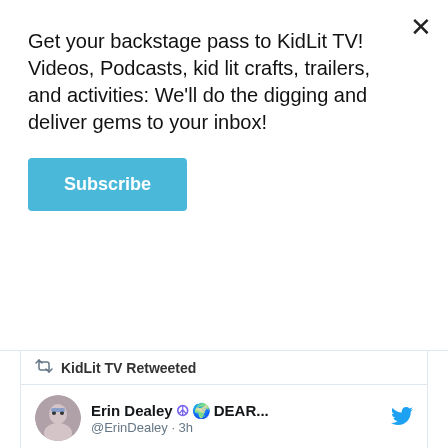Get your backstage pass to KidLit TV! Videos, Podcasts, kid lit crafts, trailers, and activities: We'll do the digging and deliver gems to your inbox!
Subscribe
KidLit TV Retweeted
Erin Dealey ☮ 🌍 DEAR... @ErinDealey · 3h
Replying to @senickel @CarolrhodaLab and 3 others
Aren't they fun? CONGRATULATIONS on this adorable, heart-warming HUG of a book!
[Figure (illustration): Illustrated bear holding a red heart, book cover image at the bottom of the tweet card]